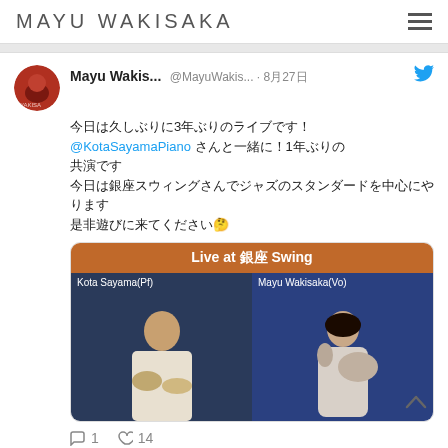MAYU WAKISAKA
[Figure (screenshot): Tweet from Mayu Wakis... @MayuWakis... 8月27日 with Japanese text mentioning @KotaSayamaPiano, including an embedded image for 'Live at 銀座 Swing' featuring Kota Sayama(Pf) and Mayu Wakisaka(Vo). Reply count: 1, Like count: 14.]
[Figure (screenshot): Partial tweet from Mayu Wakis... @MayuWakis... 8月27日, cut off at bottom of page.]